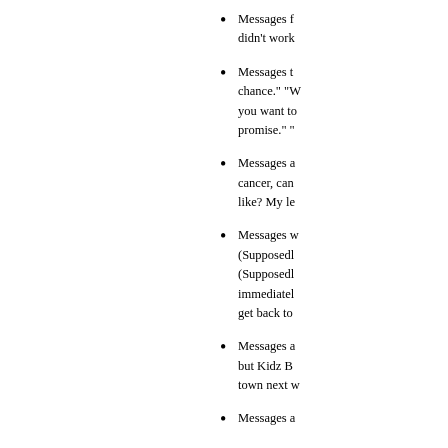Messages f... didn't work...
Messages t... chance." "W... you want to... promise." "...
Messages a... cancer, can... like? My le...
Messages w... (Supposedl... (Supposedl... immediatel... get back to...
Messages a... but Kidz B... town next v...
Messages a...